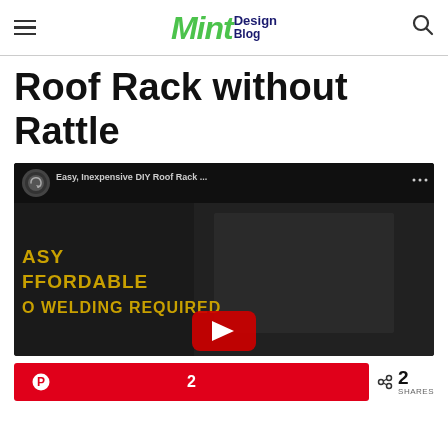Mint Design Blog
Roof Rack without Rattle
[Figure (screenshot): YouTube video embed showing 'Easy, Inexpensive DIY Roof Rack ...' with overlay text 'EASY AFFORDABLE NO WELDING REQUIRED' on dark background with a red play button]
2  < 2 SHARES